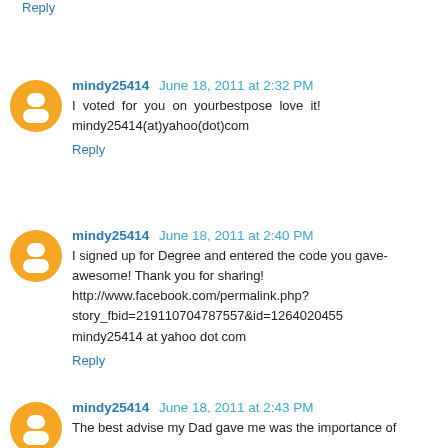Reply
mindy25414 June 18, 2011 at 2:32 PM
I voted for you on yourbestpose love it! mindy25414(at)yahoo(dot)com
Reply
mindy25414 June 18, 2011 at 2:40 PM
I signed up for Degree and entered the code you gave- awesome! Thank you for sharing! http://www.facebook.com/permalink.php?story_fbid=219110704787557&id=1264020455 mindy25414 at yahoo dot com
Reply
mindy25414 June 18, 2011 at 2:43 PM
The best advise my Dad gave me was the importance of